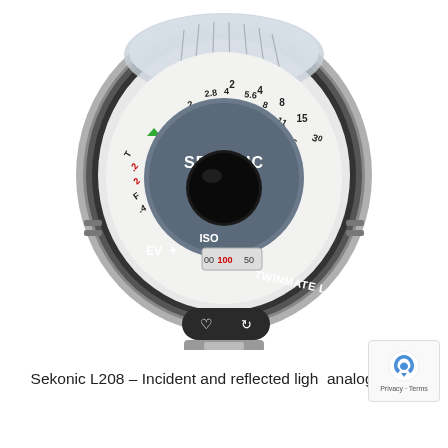[Figure (photo): Top-down photograph of a Sekonic Twinmate L-208 analog light meter showing the circular dial face with aperture (f-stop) numbers 1.4, 2, 2.8, 4, 5.6, 8, 11, 16, 22, 32, shutter speed numbers 2, 4, 8, 15, 30, ISO scale showing 100, EV and F markings, a central black dome sensor, and the brand name SEKONIC prominently displayed. The meter has a chrome/silver bezel with a serrated edge and two heart/refresh icon buttons visible at the bottom.]
Sekonic L208 – Incident and reflected light analog meter